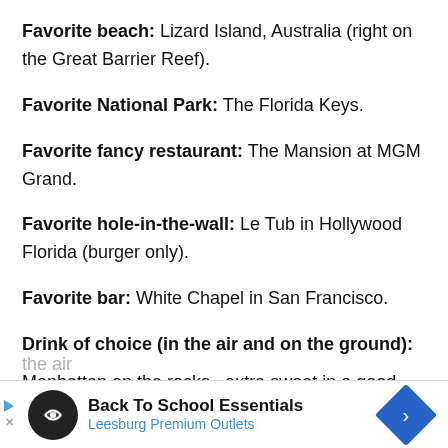Favorite beach: Lizard Island, Australia (right on the Great Barrier Reef).
Favorite National Park: The Florida Keys.
Favorite fancy restaurant: The Mansion at MGM Grand.
Favorite hole-in-the-wall: Le Tub in Hollywood Florida (burger only).
Favorite bar: White Chapel in San Francisco.
Drink of choice (in the air and on the ground):
Manhattan on the rocks...extra sweet in a good bar. In the air
[Figure (screenshot): Advertisement banner: Back To School Essentials — Leesburg Premium Outlets, with logo and navigation arrow icon]